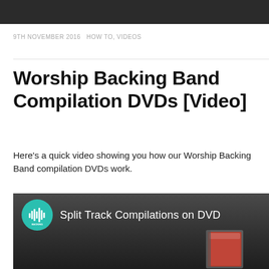9TH NOVEMBER 2016   HOW TO, VIDEOS
Worship Backing Band Compilation DVDs [Video]
Here's a quick video showing you how our Worship Backing Band compilation DVDs work.
[Figure (screenshot): Video thumbnail showing 'Split Track Compilations on DVD' with a teal channel icon and dark background showing a DVD case preview]